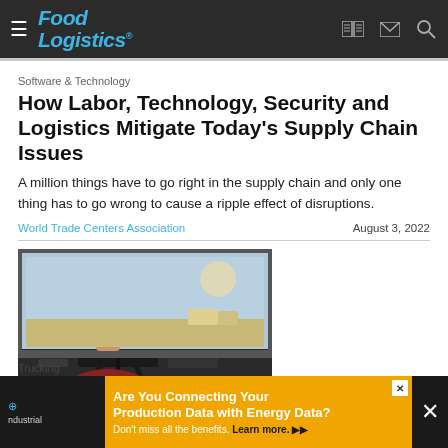Food Logistics
Software & Technology
How Labor, Technology, Security and Logistics Mitigate Today's Supply Chain Issues
A million things have to go right in the supply chain and only one thing has to go wrong to cause a ripple effect of disruptions.
World Trade Centers Association    August 3, 2022
[Figure (photo): A smiling man driving a truck, viewed from the passenger side, with a bright outdoor background visible through the windshield.]
Trucking
Are You Connecting Your Production Data with Energy Data? Don't miss all the benefits. Learn more.